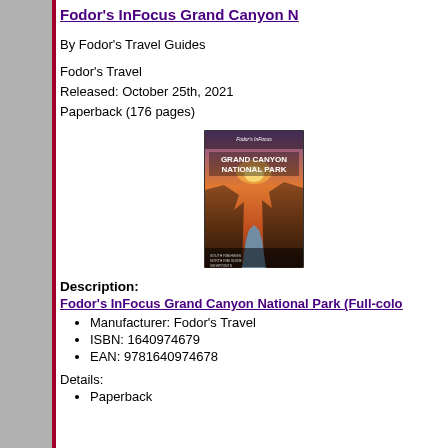Fodor's InFocus Grand Canyon N…
By Fodor's Travel Guides
Fodor's Travel
Released: October 25th, 2021
Paperback (176 pages)
[Figure (photo): Book cover of Fodor's InFocus Grand Canyon National Park showing a canyon with a river at sunset]
Description:
Fodor's InFocus Grand Canyon National Park (Full-colo…
Manufacturer: Fodor's Travel
ISBN: 1640974679
EAN: 9781640974678
Details:
Paperback